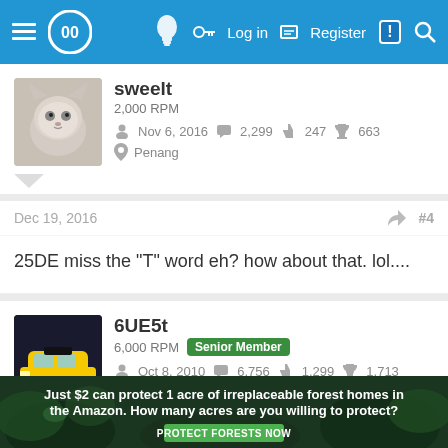[Figure (screenshot): Blue navigation bar with hamburger menu, logo, lightbulb icon, key icon, Log in, Register, notification and search icons]
[Figure (photo): Avatar photo of a flat-faced cat (sweelt user)]
sweelt
2,000 RPM
Nov 6, 2016  2,299  247  663
Penang
Dec 19, 2016
#4
25DE miss the "T" word eh? how about that. lol....
[Figure (photo): Avatar photo of a yellow sports car (6UE5t user)]
6UE5t
6,000 RPM  Senior Member
Oct 8, 2010  6,756  1,299  1,713
Kuala Lumpur
Dec 19, 2016
#5
[Figure (photo): Advertisement banner: Just $2 can protect 1 acre of irreplaceable forest homes in the Amazon. How many acres are you willing to protect? PROTECT FORESTS NOW]